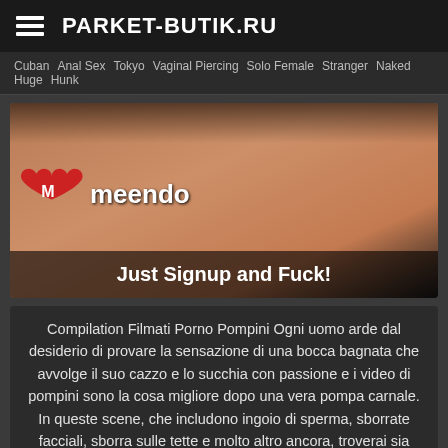PARKET-BUTIK.RU
Cuban  Anal Sex  Tokyo  Vaginal Piercing  Solo Female  Stranger  Naked  Huge  Hunk
[Figure (photo): Meendo advertisement banner with text 'Just Signup and Fuck!']
Compilation Filmati Porno Pompini Ogni uomo arde dal desiderio di provare la sensazione di una bocca bagnata che avvolge il suo cazzo e lo succhia con passione e i video di pompini sono la cosa migliore dopo una vera pompa carnale. In queste scene, che includono ingoio di sperma, sborrate facciali, sborra sulle tette e molto altro ancora, troverai sia